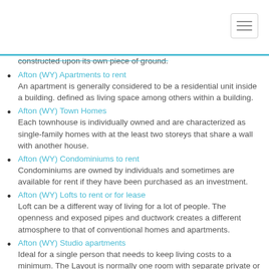constructed upon its own piece of ground.
Afton (WY) Apartments to rent
An apartment is generally considered to be a residential unit inside a building. defined as living space among others within a building.
Afton (WY) Town Homes
Each townhouse is individually owned and are characterized as single-family homes with at the least two storeys that share a wall with another house.
Afton (WY) Condominiums to rent
Condominiums are owned by individuals and sometimes are available for rent if they have been purchased as an investment.
Afton (WY) Lofts to rent or for lease
Loft can be a different way of living for a lot of people. The openness and exposed pipes and ductwork creates a different atmosphere to that of conventional homes and apartments.
Afton (WY) Studio apartments
Ideal for a single person that needs to keep living costs to a minimum. The Layout is normally one room with separate private or sometimes shared bathroom.
Afton (WY) Efficiency to rent